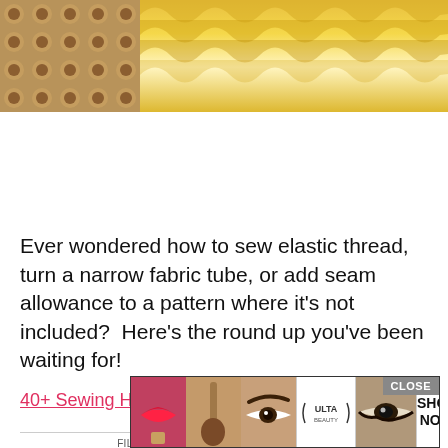[Figure (photo): Top banner: left side shows brown/orange floral patterned fabric, right side shows yellow ruffled/gathered fabric. Below is a Macy's advertisement banner with red background, white text 'KISS BORING LIPS GOODBYE', a woman with red lips, SHOP NOW button, and Macy's star logo.]
Ever wondered how to sew elastic thread, turn a narrow fabric tube, or add seam allowance to a pattern where it's not included?  Here's the round up you've been waiting for!
40+ Sewing Hacks and Tips You Need To Know
FILED UNDER: ROUND UPS, TECHNIQUES
TAGGED WITH: SEWING TIPS
[Figure (other): Row of social sharing icon buttons: heart, envelope/mail, Facebook f, Instagram camera, Pinterest P, and partially visible button. Gray square buttons with white icons.]
[Figure (photo): Bottom advertisement for ULTA Beauty showing beauty product images (lipstick, makeup brush, eyebrow/eye makeup, ULTA logo, eye makeup), with SHOP NOW text on right. Has CLOSE button overlay.]